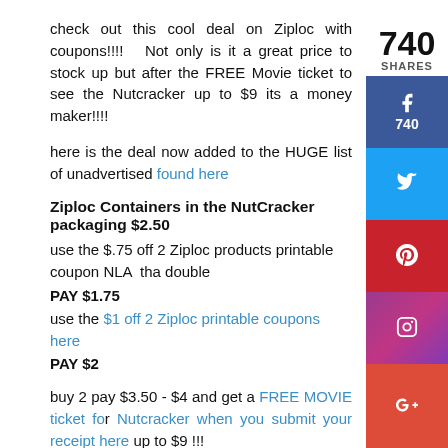check out this cool deal on Ziploc with coupons!!!!   Not only is it a great price to stock up but after the FREE Movie ticket to see the Nutcracker up to $9 its a money maker!!!!
here is the deal now added to the HUGE list of unadvertised found here
Ziploc Containers in the NutCracker packaging $2.50
use the $.75 off 2 Ziploc products printable coupon NLA  that double
PAY $1.75
use the $1 off 2 Ziploc printable coupons here
PAY $2
buy 2 pay $3.50 - $4 and get a FREE MOVIE ticket for Nutcracker when you submit your receipt here up to $9 !!!
NOTE IF LOOKING TO GET MORE THEN ONE TICKET YOU WILL NEED TO PURCHASE 2 PER RECEIPT